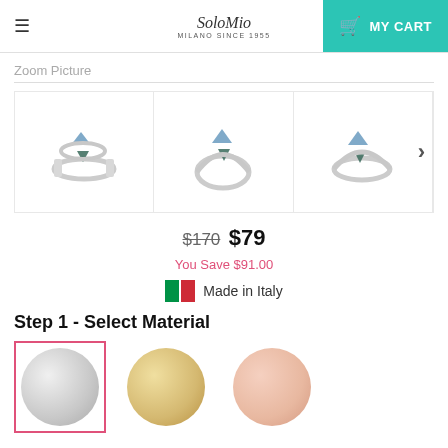≡  SoloMio MILANO SINCE 1955  MY CART
Zoom Picture
[Figure (photo): Three product images of a silver ring with blue and green gemstones, shown from different angles, with a right-arrow navigation control]
$170  $79
You Save $91.00
Made in Italy
Step 1 - Select Material
[Figure (other): Three material swatches: silver (selected with pink border), yellow gold, and rose gold circles]